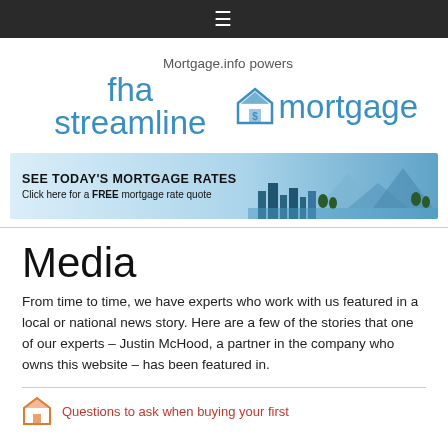☰
[Figure (logo): Mortgage.info powers fha streamline mortgage logo with house icon]
[Figure (infographic): SEE TODAY'S MORTGAGE RATES - Click here for a FREE mortgage rate quote banner with city skyline illustration]
Media
From time to time, we have experts who work with us featured in a local or national news story. Here are a few of the stories that one of our experts – Justin McHood, a partner in the company who owns this website – has been featured in.
Questions to ask when buying your first